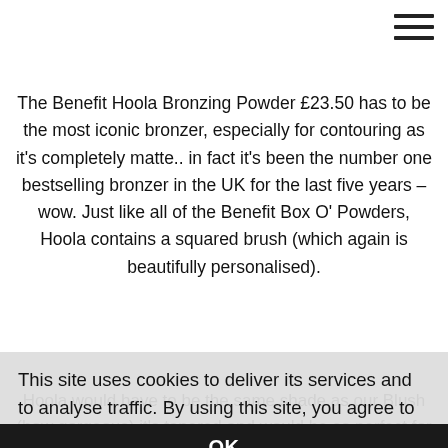☰
The Benefit Hoola Bronzing Powder £23.50 has to be the most iconic bronzer, especially for contouring as it's completely matte.. in fact it's been the number one bestselling bronzer in the UK for the last five years – wow. Just like all of the Benefit Box O' Powders, Hoola contains a squared brush (which again is beautifully personalised).
Hoola would have to be the same shade as my Blush (how gorgeous) it's tapered and would be so perfect for contouring with Hoola. Everytime I use Hoola, I'm wowed by how intensely pigmented it is, needing only the slightest tap of a brush into the powder.
This site uses cookies to deliver its services and to analyse traffic. By using this site, you agree to its use of cookies. Learn more
OK
During the winter months, Hoola was a little too